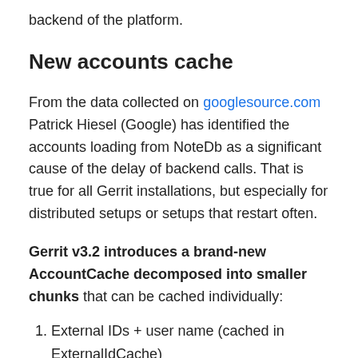backend of the platform.
New accounts cache
From the data collected on googlesource.com Patrick Hiesel (Google) has identified the accounts loading from NoteDb as a significant cause of the delay of backend calls. That is true for all Gerrit installations, but especially for distributed setups or setups that restart often.
Gerrit v3.2 introduces a brand-new AccountCache decomposed into smaller chunks that can be cached individually:
External IDs + user name (cached in ExternalIdCache)
CachedAccountDetails (newly cached)
Gerrit's default settings CachedAccountDetails - a new